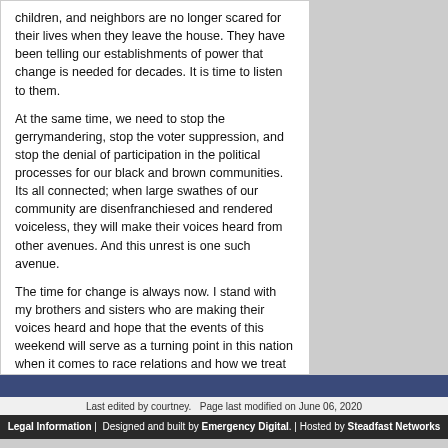children, and neighbors are no longer scared for their lives when they leave the house. They have been telling our establishments of power that change is needed for decades. It is time to listen to them.
At the same time, we need to stop the gerrymandering, stop the voter suppression, and stop the denial of participation in the political processes for our black and brown communities. Its all connected; when large swathes of our community are disenfranchiesed and rendered voiceless, they will make their voices heard from other avenues. And this unrest is one such avenue.
The time for change is always now. I stand with my brothers and sisters who are making their voices heard and hope that the events of this weekend will serve as a turning point in this nation when it comes to race relations and how we treat our fellow Americans.
Last edited by courtney.   Page last modified on June 06, 2020
Legal Information | Designed and built by Emergency Digital. | Hosted by Steadfast Networks